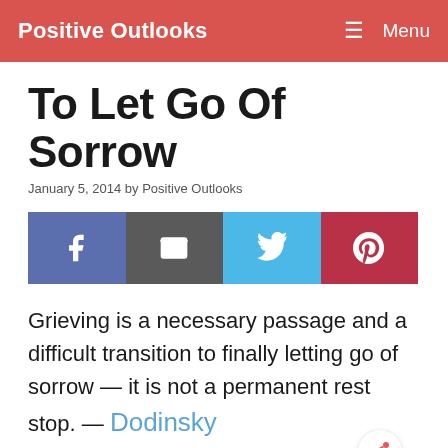Positive Outlooks   ≡ Menu
To Let Go Of Sorrow
January 5, 2014 by Positive Outlooks
[Figure (infographic): Social share buttons: Facebook (blue-grey), Email (dark grey), Twitter (light blue), Pinterest (red)]
Grieving is a necessary passage and a difficult transition to finally letting go of sorrow — it is not a permanent rest stop.  — Dodinsky
[Figure (photo): Image labeled 'grieving' with a broken image icon and blue link text]